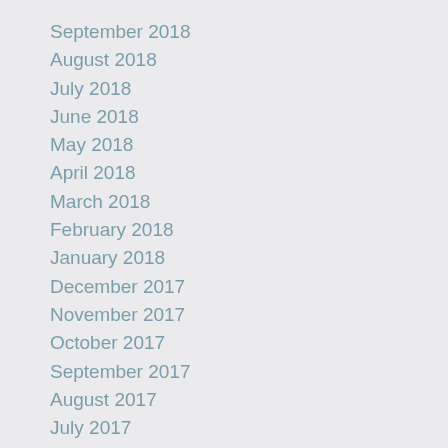September 2018
August 2018
July 2018
June 2018
May 2018
April 2018
March 2018
February 2018
January 2018
December 2017
November 2017
October 2017
September 2017
August 2017
July 2017
June 2017
May 2017
April 2017
March 2017